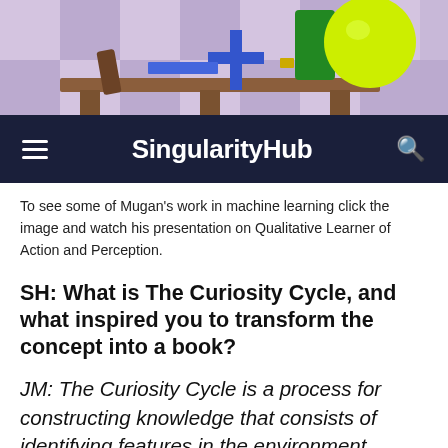[Figure (illustration): 3D rendered illustration showing a robot or mechanical figure at a table/desk, with a yellow-green sphere, blue cross/plus shapes, against a purple-lavender checkered background. Partially cropped at top.]
SingularityHub
To see some of Mugan's work in machine learning click the image and watch his presentation on Qualitative Learner of Action and Perception.
SH: What is The Curiosity Cycle, and what inspired you to transform the concept into a book?
JM: The Curiosity Cycle is a process for constructing knowledge that consists of identifying features in the environment, building models from those features, and testing those models to identify yet more features and models. I began my robotics